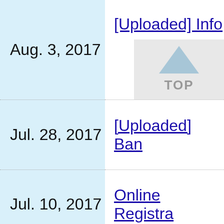| Date | Document |
| --- | --- |
| Aug. 3, 2017 | [Uploaded] Info... |
| Jul. 28, 2017 | [Uploaded] Ban... |
| Jul. 10, 2017 | Online Registra... |